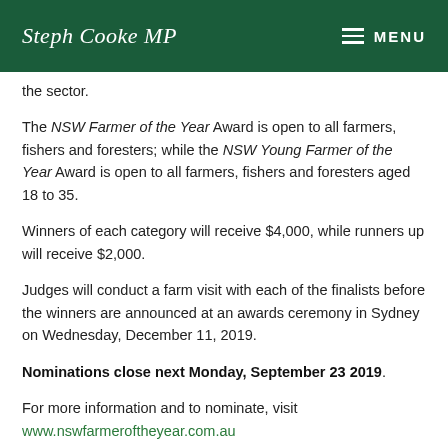Steph Cooke MP — MENU
the sector.
The NSW Farmer of the Year Award is open to all farmers, fishers and foresters; while the NSW Young Farmer of the Year Award is open to all farmers, fishers and foresters aged 18 to 35.
Winners of each category will receive $4,000, while runners up will receive $2,000.
Judges will conduct a farm visit with each of the finalists before the winners are announced at an awards ceremony in Sydney on Wednesday, December 11, 2019.
Nominations close next Monday, September 23 2019.
For more information and to nominate, visit www.nswfarmeroftheyear.com.au